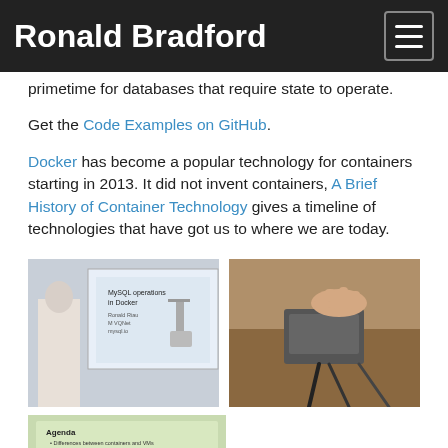Ronald Bradford
primetime for databases that require state to operate.
Get the Code Examples on GitHub.
Docker has become a popular technology for containers starting in 2013. It did not invent containers, A Brief History of Container Technology gives a timeline of technologies that have got us to where we are today.
[Figure (photo): Person standing in front of a presentation slide showing 'MySQL operations in Docker']
[Figure (photo): Hand pointing at small hardware device on a table with cables]
[Figure (photo): Presentation slide showing Agenda with bullet points about containers and Docker]